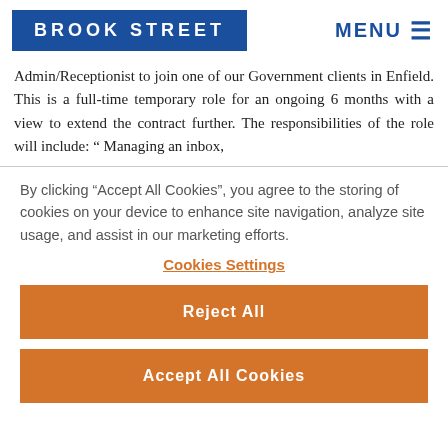BROOK STREET
Admin/Receptionist to join one of our Government clients in Enfield. This is a full-time temporary role for an ongoing 6 months with a view to extend the contract further. The responsibilities of the role will include: " Managing an inbox,
By clicking “Accept All Cookies”, you agree to the storing of cookies on your device to enhance site navigation, analyze site usage, and assist in our marketing efforts.
Cookies Settings
Reject All
Accept All Cookies